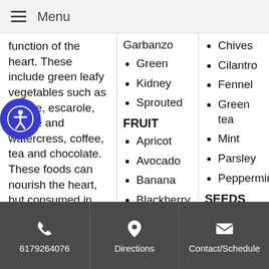Menu
function of the heart. These include green leafy vegetables such as endive, escarole, lettuce and watercress, coffee, tea and chocolate. These foods can nourish the heart, but consumed in excess do more harm than good.

Raw fruits, fresh salads, cool soups and light breads
Garbanzo
Green
Kidney
Sprouted
FRUIT
Apricot
Avocado
Banana
Blackberry
Chives
Cilantro
Fennel
Green tea
Mint
Parsley
Peppermint
SEEDS
Pumpkin
6179264076  Directions  Contact/Schedule